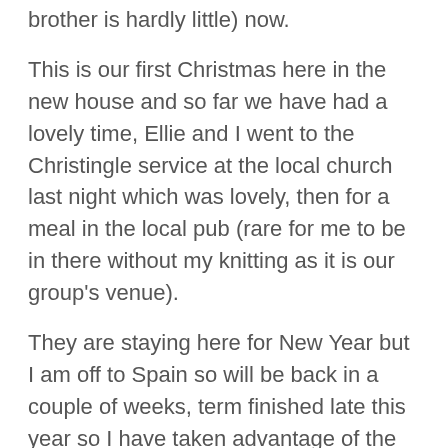brother is hardly little) now.
This is our first Christmas here in the new house and so far we have had a lovely time, Ellie and I went to the Christingle service at the local church last night which was lovely, then for a meal in the local pub (rare for me to be in there without my knitting as it is our group's venue).
They are staying here for New Year but I am off to Spain so will be back in a couple of weeks, term finished late this year so I have taken advantage of the fact that we do not start back until mid January and am on leave for 2 weeks which will give me plenty of time for sitting on the terrace knitting.
I have already chosen next year's stitched Xmas ornaments after seeing the same design on a couple